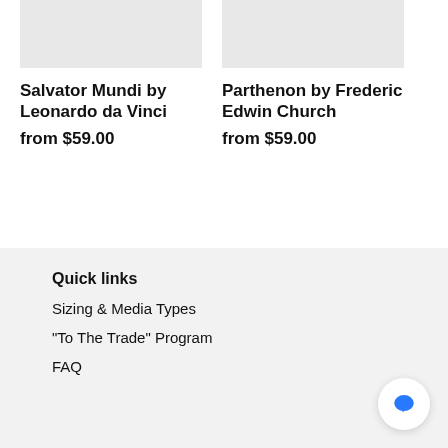[Figure (photo): Product image placeholder for Salvator Mundi (light gray rectangle)]
[Figure (photo): Product image placeholder for Parthenon by Frederic Edwin Church (light gray rectangle)]
Salvator Mundi by Leonardo da Vinci
from $59.00
Parthenon by Frederic Edwin Church
from $59.00
Quick links
Sizing & Media Types
"To The Trade" Program
FAQ